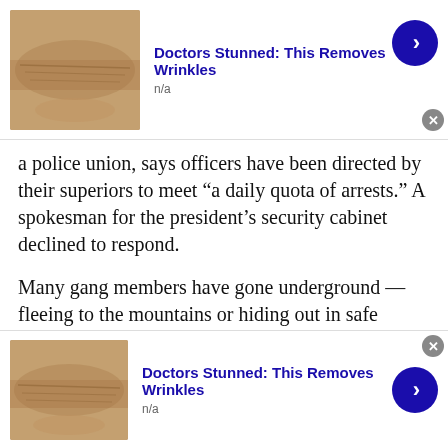[Figure (advertisement): Ad banner: skin/wrinkle cream ad with thumbnail image of aged skin, title 'Doctors Stunned: This Removes Wrinkles', subtitle 'n/a', blue arrow button, close X button]
a police union, says officers have been directed by their superiors to meet “a daily quota of arrests.” A spokesman for the president’s security cabinet declined to respond.
Many gang members have gone underground — fleeing to the mountains or hiding out in safe houses — so the police have met the demand for mass arrests by picking up anyone who looks suspicious, according to Mr. Reyes.
“They’ve received an order and don’t want
[Figure (advertisement): Ad banner: skin/wrinkle cream ad with thumbnail image of aged skin, title 'Doctors Stunned: This Removes Wrinkles', subtitle 'n/a', blue arrow button, close X button]